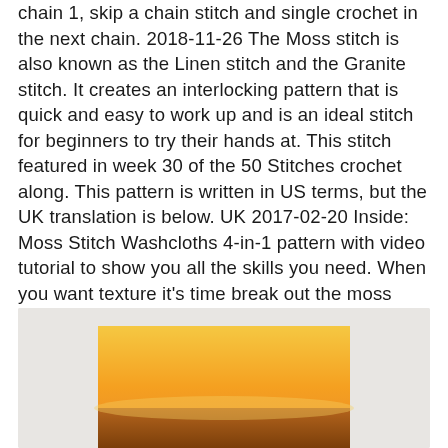chain 1, skip a chain stitch and single crochet in the next chain. 2018-11-26 The Moss stitch is also known as the Linen stitch and the Granite stitch. It creates an interlocking pattern that is quick and easy to work up and is an ideal stitch for beginners to try their hands at. This stitch featured in week 30 of the 50 Stitches crochet along. This pattern is written in US terms, but the UK translation is below. UK 2017-02-20 Inside: Moss Stitch Washcloths 4-in-1 pattern with video tutorial to show you all the skills you need. When you want texture it's time break out the moss stitch.
[Figure (photo): A partial photo showing a warm golden/orange toned landscape scene, partially cut off at the bottom of the page. The image has a yellowish-orange sky suggesting a sunset scene.]